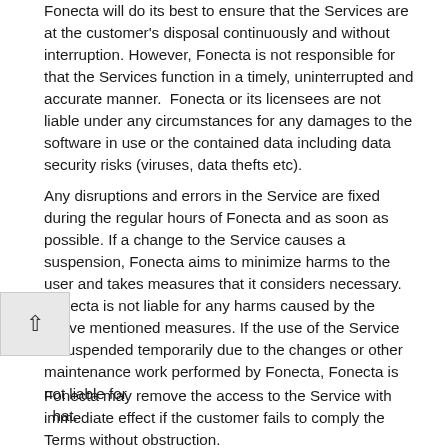Fonecta will do its best to ensure that the Services are at the customer's disposal continuously and without interruption. However, Fonecta is not responsible for that the Services function in a timely, uninterrupted and accurate manner.  Fonecta or its licensees are not liable under any circumstances for any damages to the software in use or the contained data including data security risks (viruses, data thefts etc).
Any disruptions and errors in the Service are fixed during the regular hours of Fonecta and as soon as possible. If a change to the Service causes a suspension, Fonecta aims to minimize harms to the user and takes measures that it considers necessary. Fonecta is not liable for any harms caused by the above mentioned measures. If the use of the Service is suspended temporarily due to the changes or other maintenance work performed by Fonecta, Fonecta is not liable for that.
Fonecta may remove the access to the Service with immediate effect if the customer fails to comply the Terms without obstruction.